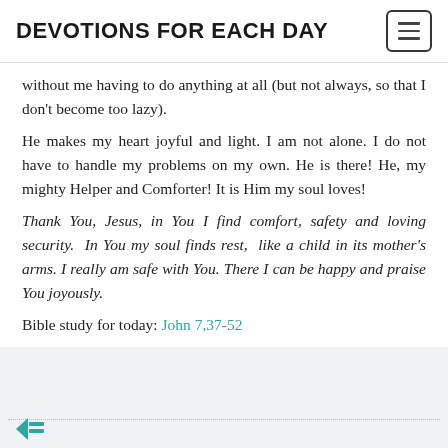DEVOTIONS FOR EACH DAY
without me having to do anything at all (but not always, so that I don't become too lazy).
He makes my heart joyful and light. I am not alone. I do not have to handle my problems on my own. He is there! He, my mighty Helper and Comforter! It is Him my soul loves!
Thank You, Jesus, in You I find comfort, safety and loving security. In You my soul finds rest, like a child in its mother's arms. I really am safe with You. There I can be happy and praise You joyously.
Bible study for today: John 7,37-52